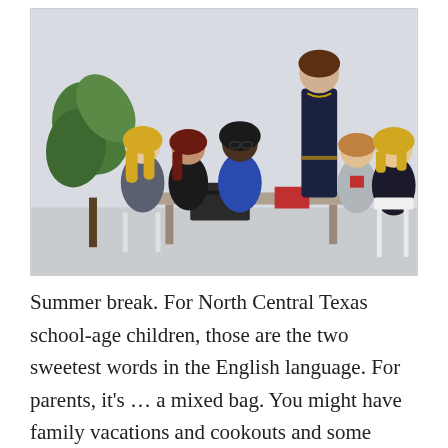[Figure (photo): Group of six women sitting and standing around a table in a bright room with a large plant, engaged in conversation. One woman is standing, others are seated. They appear to be in a meeting or discussion setting.]
Summer break. For North Central Texas school-age children, those are the two sweetest words in the English language. For parents, it's … a mixed bag. You might have family vacations and cookouts and some memory-making planned, but it also means YOU are the one figuring out what to do with the young people during the long days so they're not at your heels every five minutes looking for